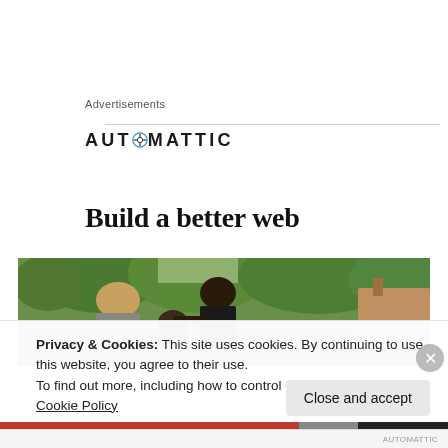Advertisements
[Figure (logo): Automattic logo with compass icon replacing the letter O]
Build a better web
[Figure (photo): Outdoor scene with people gathered near trees, partial view cut off at bottom]
Privacy & Cookies: This site uses cookies. By continuing to use this website, you agree to their use.
To find out more, including how to control cookies, see here: Cookie Policy